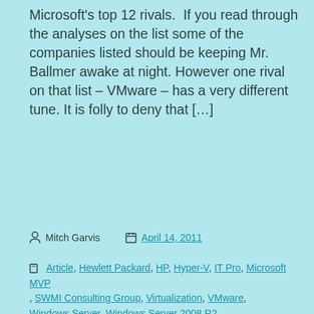Microsoft's top 12 rivals. If you read through the analyses on the list some of the companies listed should be keeping Mr. Ballmer awake at night. However one rival on that list – VMware – has a very different tune. It is folly to deny that […]
Mitch Garvis   April 14, 2011
Article, Hewlett Packard, HP, Hyper-V, IT Pro, Microsoft MVP, SWMI Consulting Group, Virtualization, VMware, Windows Server, Windows Server 2008 R2
Privacy & Cookies: This site uses cookies. By continuing to use this website, you agree to their use.
To find out more, including how to control cookies, see here: Cookie Policy
Close and accept